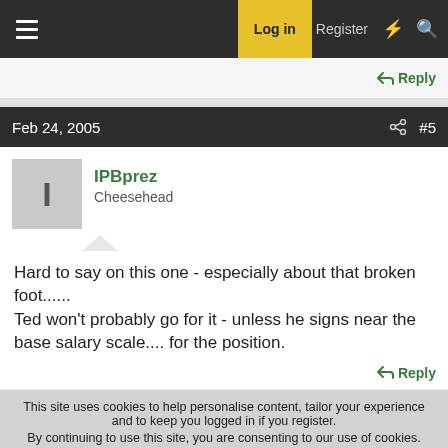Log in  Register
Reply
Feb 24, 2005  #5
IPBprez
Cheesehead
Hard to say on this one - especially about that broken foot......
Ted won't probably go for it - unless he signs near the base salary scale.... for the position.
Reply
This site uses cookies to help personalise content, tailor your experience and to keep you logged in if you register.
By continuing to use this site, you are consenting to our use of cookies.